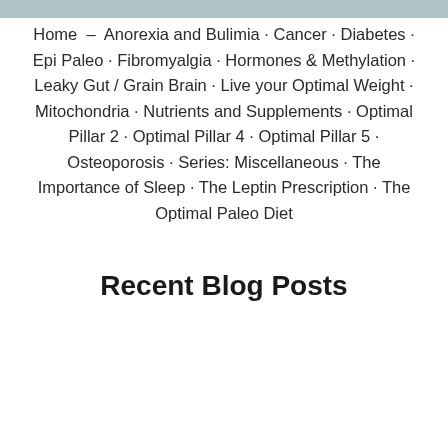[Figure (photo): Partial photo strip at top of page, showing a blurred image of a person]
Home  –  Anorexia and Bulimia · Cancer · Diabetes · Epi Paleo · Fibromyalgia · Hormones & Methylation · Leaky Gut / Grain Brain · Live your Optimal Weight · Mitochondria · Nutrients and Supplements · Optimal Pillar 2 · Optimal Pillar 4 · Optimal Pillar 5 · Osteoporosis · Series: Miscellaneous · The Importance of Sleep · The Leptin Prescription · The Optimal Paleo Diet
Recent Blog Posts